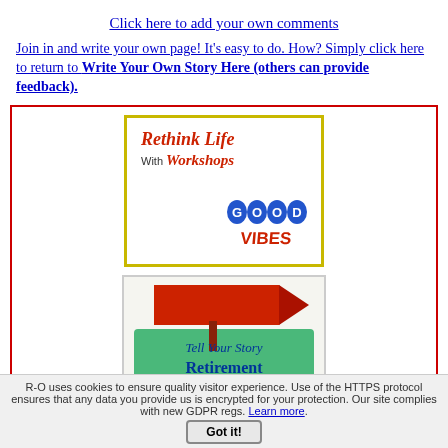Click here to add your own comments
Join in and write your own page! It's easy to do. How? Simply click here to return to Write Your Own Story Here (others can provide feedback).
[Figure (illustration): Rethink Life With Workshops Good Vibes promotional card with yellow border, red and blue text]
[Figure (illustration): Tell Your Story Retirement sign with red arrow on green background]
R-O uses cookies to ensure quality visitor experience. Use of the HTTPS protocol ensures that any data you provide us is encrypted for your protection. Our site complies with new GDPR regs. Learn more.